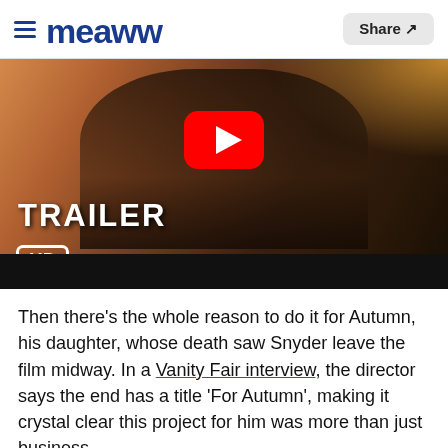Meaww — Share
[Figure (screenshot): Video thumbnail showing Batman/hooded figure with TRAILER HD overlay and YouTube play button]
Then there's the whole reason to do it for Autumn, his daughter, whose death saw Snyder leave the film midway. In a Vanity Fair interview, the director says the end has a title 'For Autumn', making it crystal clear this project for him was more than just business.
ADVERTISEMENT